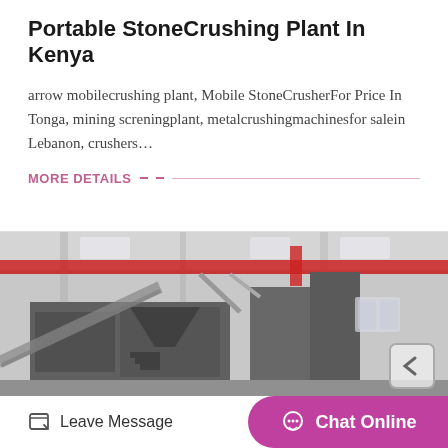Portable StoneCrushing Plant In Kenya
arrow mobilecrushing plant, Mobile StoneCrusherFor Price In Tonga, mining screningplant, metalcrushingmachinesfor salein Lebanon, crushers…
MORE DETAILS
[Figure (photo): Industrial stone crushing plant machinery inside a large factory building with overhead crane visible]
Leave Message
Chat Online